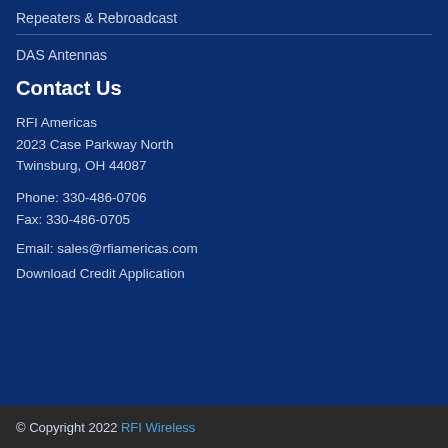Repeaters & Rebroadcast
DAS Antennas
Contact Us
RFI Americas
2023 Case Parkway North
Twinsburg, OH 44087
Phone: 330-486-0706
Fax: 330-486-0705
Email: sales@rfiamericas.com
Download Credit Application
© Copyright 2022 RFI Wireless